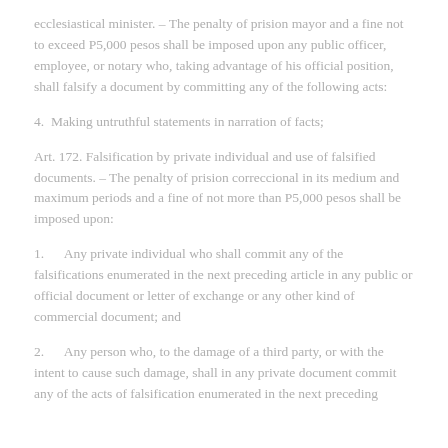ecclesiastical minister. – The penalty of prision mayor and a fine not to exceed P5,000 pesos shall be imposed upon any public officer, employee, or notary who, taking advantage of his official position, shall falsify a document by committing any of the following acts:
4.  Making untruthful statements in narration of facts;
Art. 172. Falsification by private individual and use of falsified documents. – The penalty of prision correccional in its medium and maximum periods and a fine of not more than P5,000 pesos shall be imposed upon:
1.      Any private individual who shall commit any of the falsifications enumerated in the next preceding article in any public or official document or letter of exchange or any other kind of commercial document; and
2.      Any person who, to the damage of a third party, or with the intent to cause such damage, shall in any private document commit any of the acts of falsification enumerated in the next preceding